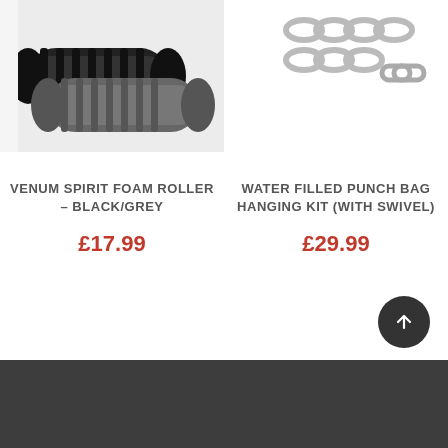[Figure (photo): Venum Spirit Foam Roller in black and grey colors, showing two cylindrical foam rollers with textured grip surfaces on a light background]
[Figure (photo): Water filled punch bag hanging kit with metal chain links and swivel hook on white background]
VENUM SPIRIT FOAM ROLLER – BLACK/GREY
£17.99
WATER FILLED PUNCH BAG HANGING KIT (WITH SWIVEL)
£29.99